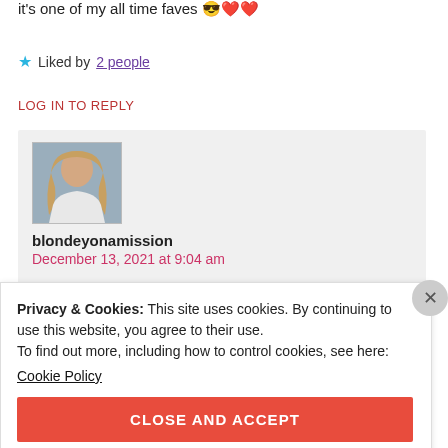it's one of my all time faves 😎❤️❤️
★ Liked by 2 people
LOG IN TO REPLY
[Figure (photo): Avatar photo of blondeyonamission — a woman with long blonde hair wearing a white top]
blondeyonamission
December 13, 2021 at 9:04 am
Privacy & Cookies: This site uses cookies. By continuing to use this website, you agree to their use.
To find out more, including how to control cookies, see here:
Cookie Policy
CLOSE AND ACCEPT